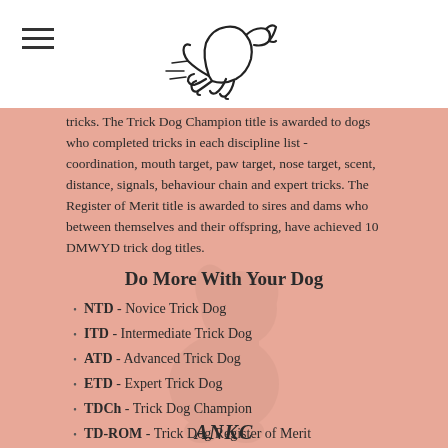[Figure (logo): Running dog outline logo (DMWYD/Do More With Your Dog) centered at top of page]
tricks. The Trick Dog Champion title is awarded to dogs who completed tricks in each discipline list - coordination, mouth target, paw target, nose target, scent, distance, signals, behaviour chain and expert tricks. The Register of Merit title is awarded to sires and dams who between themselves and their offspring, have achieved 10 DMWYD trick dog titles.
Do More With Your Dog
NTD - Novice Trick Dog
ITD - Intermediate Trick Dog
ATD - Advanced Trick Dog
ETD - Expert Trick Dog
TDCh - Trick Dog Champion
TD-ROM - Trick Dog Register of Merit
ANKC